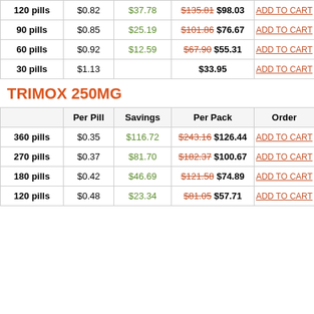|  | Per Pill | Savings | Per Pack | Order |
| --- | --- | --- | --- | --- |
| 120 pills | $0.82 | $37.78 | $135.81 $98.03 | ADD TO CART |
| 90 pills | $0.85 | $25.19 | $101.86 $76.67 | ADD TO CART |
| 60 pills | $0.92 | $12.59 | $67.90 $55.31 | ADD TO CART |
| 30 pills | $1.13 |  | $33.95 | ADD TO CART |
TRIMOX 250MG
|  | Per Pill | Savings | Per Pack | Order |
| --- | --- | --- | --- | --- |
| 360 pills | $0.35 | $116.72 | $243.16 $126.44 | ADD TO CART |
| 270 pills | $0.37 | $81.70 | $182.37 $100.67 | ADD TO CART |
| 180 pills | $0.42 | $46.69 | $121.58 $74.89 | ADD TO CART |
| 120 pills | $0.48 | $23.34 | $81.05 $57.71 | ADD TO CART |